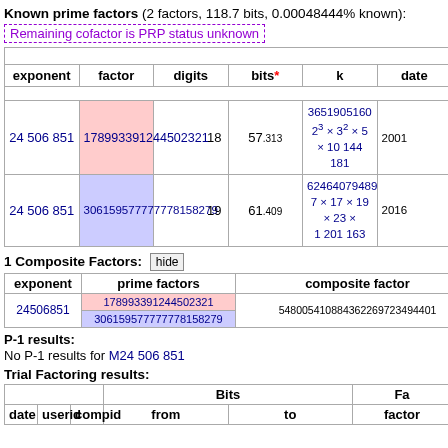Known prime factors (2 factors, 118.7 bits, 0.00048444% known):
Remaining cofactor is PRP status unknown
| exponent | factor | digits | bits* | k | date |
| --- | --- | --- | --- | --- | --- |
| 24 506 851 | 178993391244502321 | 18 | 57.313 | 3651905160
2^3 × 3^2 × 5 × 10 144 181 | 2001 |
| 24 506 851 | 306159577777778158279 | 19 | 61.409 | 62464079489
7 × 17 × 19 × 23 × 1 201 163 | 2016 |
1 Composite Factors: hide
| exponent | prime factors | composite factor |
| --- | --- | --- |
| 24506851 | 178993391244502321
306159577777778158279 | 548005410884362269723494401 |
P-1 results:
No P-1 results for M24 506 851
Trial Factoring results:
| date | userid | compid | from | to | factor |
| --- | --- | --- | --- | --- | --- |